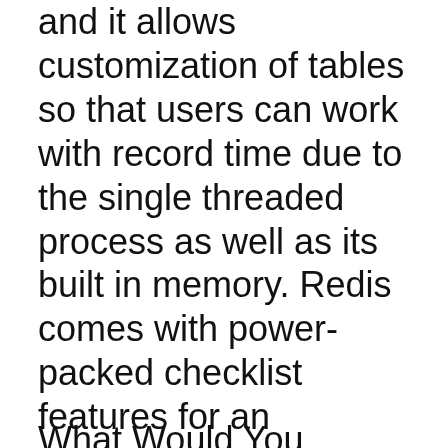and it allows customization of tables so that users can work with record time due to the single threaded process as well as its built in memory. Redis comes with power-packed checklist features for an awesome user experience.
What Would You